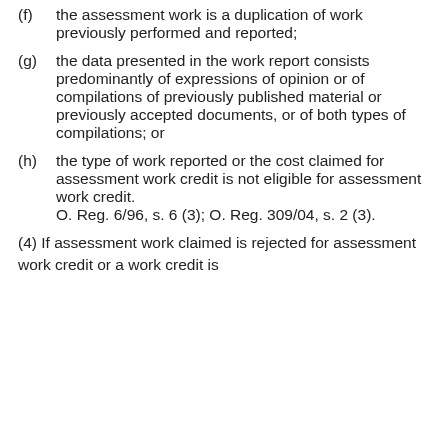(f) the assessment work is a duplication of work previously performed and reported;
(g) the data presented in the work report consists predominantly of expressions of opinion or of compilations of previously published material or previously accepted documents, or of both types of compilations; or
(h) the type of work reported or the cost claimed for assessment work credit is not eligible for assessment work credit. O. Reg. 6/96, s. 6 (3); O. Reg. 309/04, s. 2 (3).
(4) If assessment work claimed is rejected for assessment work credit or a work credit is